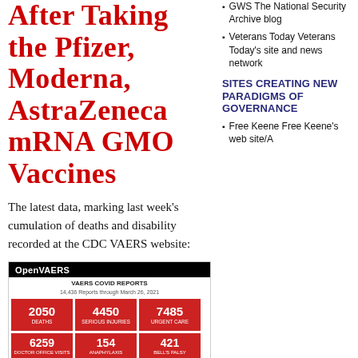After Taking the Pfizer, Moderna, AstraZeneca mRNA GMO Vaccines
The latest data, marking last week's cumulation of deaths and disability recorded at the CDC VAERS website:
[Figure (screenshot): OpenVAERS screenshot showing VAERS COVID Reports data with red stat boxes: 2050, 4450, 7485 in top row; 6259, 154, 421 (partial) in bottom row]
GWS The National Security Archive blog
Veterans Today Veterans Today's site and news network
SITES CREATING NEW PARADIGMS OF GOVERNANCE
Free Keene Free Keene's web site/A